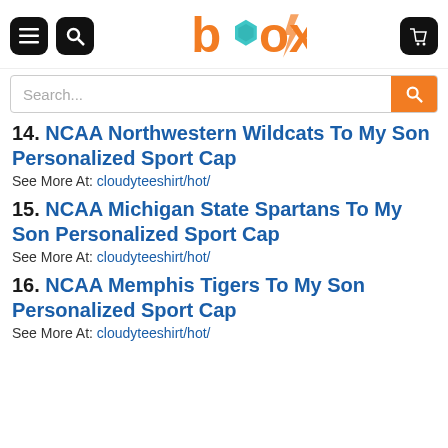[Figure (logo): Box store logo with orange 'b', teal hexagon, and orange letters 'ox' with navigation icons]
14. NCAA Northwestern Wildcats To My Son Personalized Sport Cap
See More At: cloudyteeshirt/hot/
15. NCAA Michigan State Spartans To My Son Personalized Sport Cap
See More At: cloudyteeshirt/hot/
16. NCAA Memphis Tigers To My Son Personalized Sport Cap
See More At: cloudyteeshirt/hot/